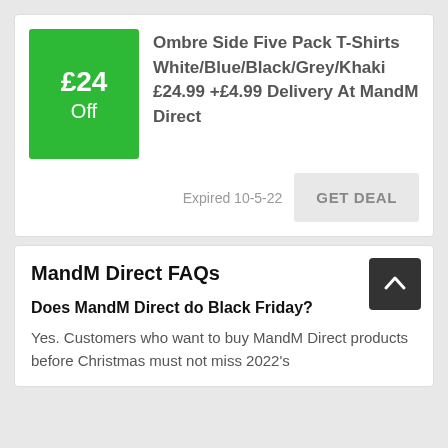[Figure (other): Green badge showing £24 Off discount label]
Ombre Side Five Pack T-Shirts White/Blue/Black/Grey/Khaki £24.99 +£4.99 Delivery At MandM Direct
Expired 10-5-22
GET DEAL
MandM Direct FAQs
Does MandM Direct do Black Friday?
Yes. Customers who want to buy MandM Direct products before Christmas must not miss 2022's